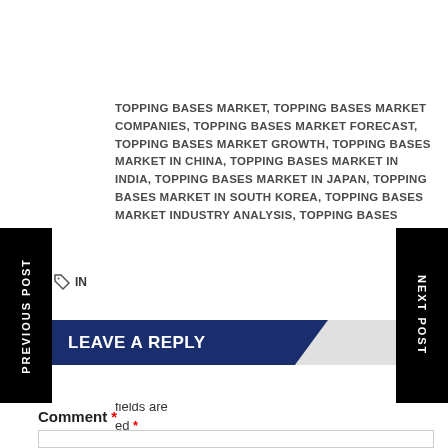TOPPING BASES MARKET, TOPPING BASES MARKET COMPANIES, TOPPING BASES MARKET FORECAST, TOPPING BASES MARKET GROWTH, TOPPING BASES MARKET IN CHINA, TOPPING BASES MARKET IN INDIA, TOPPING BASES MARKET IN JAPAN, TOPPING BASES MARKET IN SOUTH KOREA, TOPPING BASES MARKET INDUSTRY ANALYSIS, TOPPING BASES MARKET LATEST SCENARIO, TOPPING BASES MARKET OVERVIEW, TOPPING BASES MARKET RESEARCH, TOPPING BASES MARKET SEGMENTATION, TOPPING BASES MARKET TYPES AND APPLICATION
LEAVE A REPLY
Your email address will not be published. Required fields are marked *
Comment *